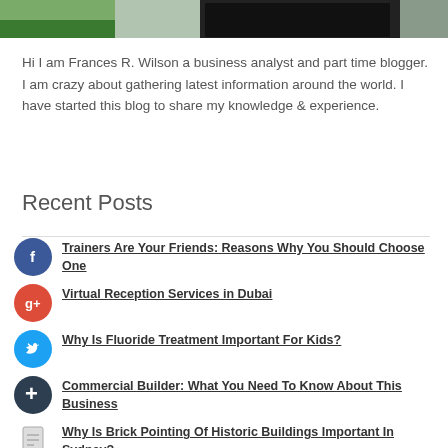[Figure (photo): Partial top image showing a desk scene with plants, laptop/tablet, and office items — cropped banner image at top of page]
Hi I am Frances R. Wilson a business analyst and part time blogger. I am crazy about gathering latest information around the world. I have started this blog to share my knowledge & experience.
Recent Posts
Trainers Are Your Friends: Reasons Why You Should Choose One
Virtual Reception Services in Dubai
Why Is Fluoride Treatment Important For Kids?
Commercial Builder: What You Need To Know About This Business
Why Is Brick Pointing Of Historic Buildings Important In Sydney?